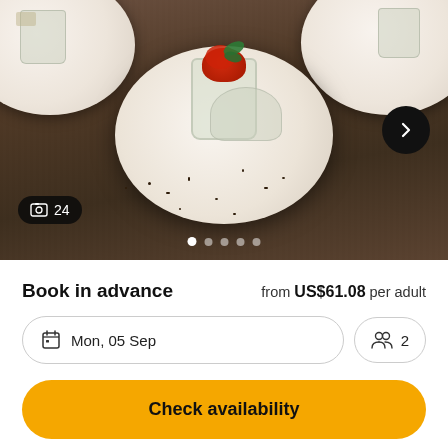[Figure (photo): Food photo showing dessert plates with rice pudding or panna cotta in glass jars topped with fresh strawberries and mint, with chocolate flakes scattered on white plates, on a wooden table. Shows 24 photos indicator and navigation dots.]
Book in advance    from US$61.08 per adult
Mon, 05 Sep    2
Check availability
Reserve · Cancel up to 24 hours in advance for a